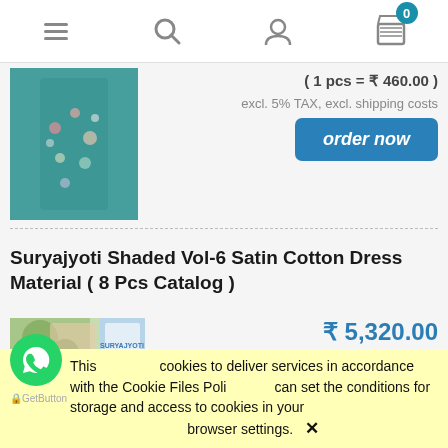[Figure (screenshot): Mobile e-commerce website navigation bar with hamburger menu, search icon, user icon, and cart icon with badge showing 0]
[Figure (photo): Teal/green floral printed dress material (salwar kameez) shown on a model]
( 1 pcs = ₹ 460.00 )
excl. 5% TAX, excl. shipping costs
order now
Suryajyoti Shaded Vol-6 Satin Cotton Dress Material ( 8 Pcs Catalog )
[Figure (photo): Product catalog image for Suryajyoti Shaded Vol-6 Satin Cotton Dress Material]
₹ 5,320.00
( 1 pcs = ₹ 665.00 )
excl. 5% TAX, excl. shipping costs
This site uses cookies to deliver services in accordance with the Cookie Files Policy. You can set the conditions for storage and access to cookies in your browser settings.